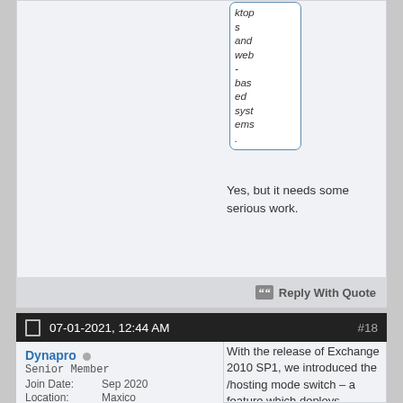ktop
s
and
web
-
bas
ed
syst
ems
.
Yes, but it needs some serious work.
Reply With Quote
07-01-2021, 12:44 AM  #18
Dynapro
Senior Member
Join Date: Sep 2020
Location: Maxico
Posts: 360
With the release of Exchange 2010 SP1, we introduced the /hosting mode switch – a feature which deploys Exchange using an Active Directory